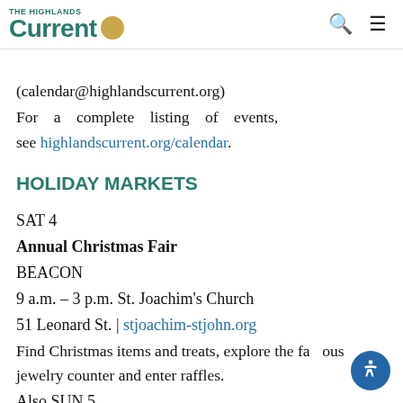The Highlands Current
(calendar@highlandscurrent.org)
For a complete listing of events, see highlandscurrent.org/calendar.
HOLIDAY MARKETS
SAT 4
Annual Christmas Fair
BEACON
9 a.m. – 3 p.m. St. Joachim's Church
51 Leonard St. | stjoachim-stjohn.org
Find Christmas items and treats, explore the famous jewelry counter and enter raffles.
Also SUN 5